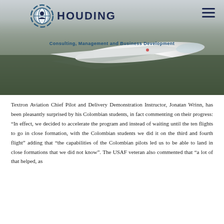[Figure (photo): Header banner showing Houding consulting logo with a globe/pilot icon and the text HOUDING in dark navy, tagline 'Consulting, Management and Business Development', with a background photo of a white aircraft flying close to the ground.]
Textron Aviation Chief Pilot and Delivery Demonstration Instructor, Jonatan Wrinn, has been pleasantly surprised by his Colombian students, in fact commenting on their progress: “In effect, we decided to accelerate the program and instead of waiting until the ten flights to go in close formation, with the Colombian students we did it on the third and fourth flight” adding that “the capabilities of the Colombian pilots led us to be able to land in close formations that we did not know”. The USAF veteran also commented that “a lot of that helped, as